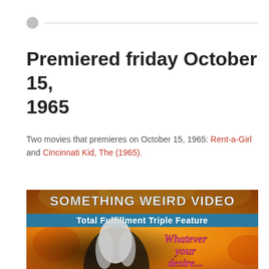Premiered friday October 15, 1965
Two movies that premieres on October 15, 1965: Rent-a-Girl and Cincinnati Kid, The (1965).
[Figure (photo): Something Weird Video — Total Fulfillment Triple Feature movie cover art. Orange/yellow flame background with a figure with long white hair in the center, and the text 'Whatever your desire...' on the right side in pink italic lettering.]